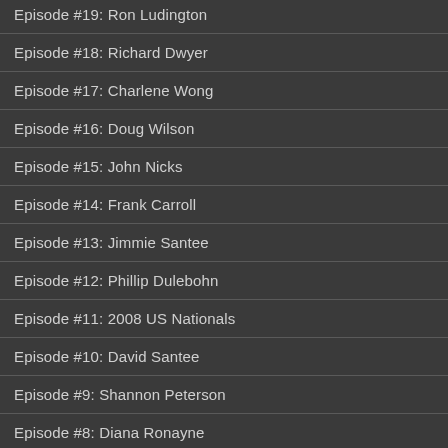Episode #19: Ron Ludington
Episode #18: Richard Dwyer
Episode #17: Charlene Wong
Episode #16: Doug Wilson
Episode #15: John Nicks
Episode #14: Frank Carroll
Episode #13: Jimmie Santee
Episode #12: Phillip Dulebohn
Episode #11: 2008 US Nationals
Episode #10: David Santee
Episode #9: Shannon Peterson
Episode #8: Diana Ronayne
Episode #7: Phillip Mills